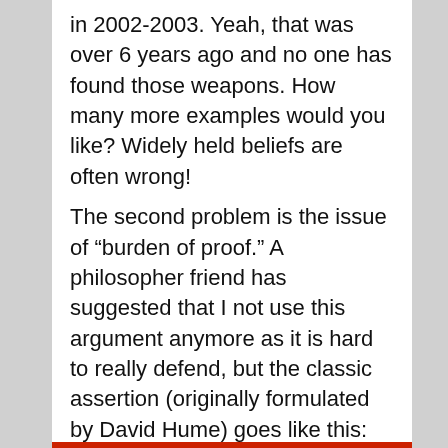in 2002-2003. Yeah, that was over 6 years ago and no one has found those weapons. How many more examples would you like? Widely held beliefs are often wrong!
The second problem is the issue of "burden of proof." A philosopher friend has suggested that I not use this argument anymore as it is hard to really defend, but the classic assertion (originally formulated by David Hume) goes like this: Extraordinary claims require extraordinary evidence. I'm not claiming anything extraordinary when I say, "I see no evidence to support the existence of a god." (NOTE: I did not say your god doesn't exist, just that there is